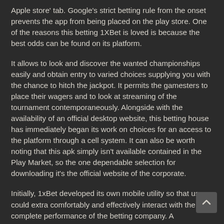Apple store' tab. Google's strict betting rule from the onset prevents the app from being placed on the play store. One of the reasons this betting 1XBet is loved is because the best odds can be found on its platform.
It allows to look and discover the wanted championships easily and obtain entry to varied choices supplying you with the chance to hitch the jackpot. It permits the gamesters to place their wagers and to look at streaming of the tournament contemporaneously. Alongside with the availability of an official desktop website, this betting house has immediately began its work on choices for an access to the platform through a cell system. It can also be worth noting that this apk simply isn't available contained in the Play Market, so the one dependable selection for downloading it's the official website of the corporate.
Initially, 1xBet developed its own mobile utility so that users could extra comfortably and effectively interact with the complete performance of the betting company. A bookmaker simply accepts bets on occasions at odds which would possibly be beneficial to the player if they win. On the pop-up window, enter your mobile phone quantity, your chosen foreign money (if you don't, for some cause, want to use Kenyan shillings) and your